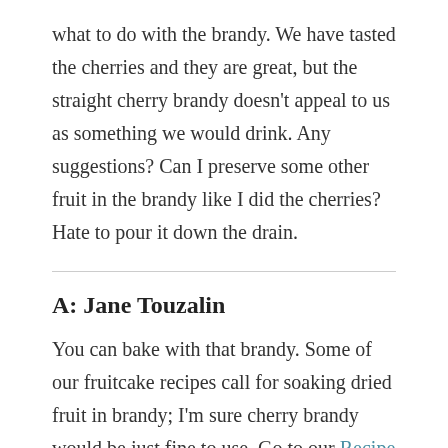what to do with the brandy. We have tasted the cherries and they are great, but the straight cherry brandy doesn't appeal to us as something we would drink. Any suggestions? Can I preserve some other fruit in the brandy like I did the cherries? Hate to pour it down the drain.
A: Jane Touzalin
You can bake with that brandy. Some of our fruitcake recipes call for soaking dried fruit in brandy; I'm sure cherry brandy would be just fine to use. Go to our Recipe Finder database, search for brandy and you'll find lot of possibilities, including Emily Dickinson's